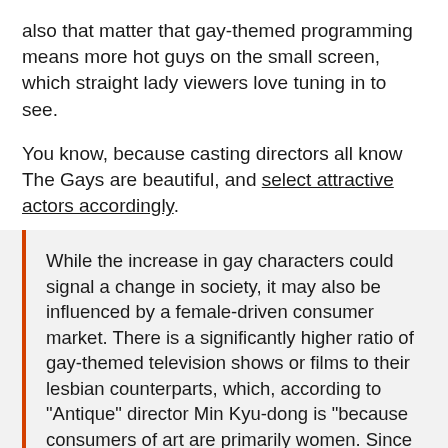also that matter that gay-themed programming means more hot guys on the small screen, which straight lady viewers love tuning in to see.
You know, because casting directors all know The Gays are beautiful, and select attractive actors accordingly.
While the increase in gay characters could signal a change in society, it may also be influenced by a female-driven consumer market. There is a significantly higher ratio of gay-themed television shows or films to their lesbian counterparts, which, according to “Antique” director Min Kyu-dong is “because consumers of art are primarily women. Since lots of good-looking men are appearing, more than would appear in a heterosexual-themed work, there is a lot more eye candy for